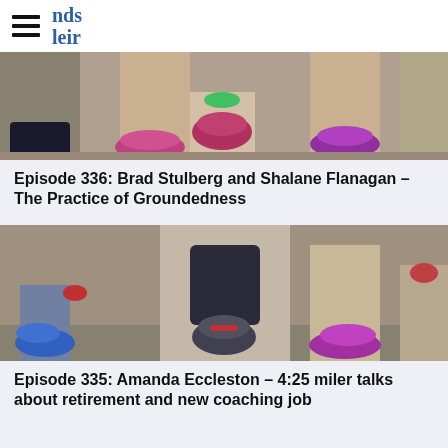nds / leir (logo partially visible)
[Figure (photo): Close-up photo of runners' legs and feet in colorful running shoes at the start of a race, viewed from ground level]
Episode 336: Brad Stulberg and Shalane Flanagan – The Practice of Groundedness
[Figure (photo): Close-up photo of a runner bending down at the start line, wearing colorful running shoes, viewed from low angle]
Episode 335: Amanda Eccleston – 4:25 miler talks about retirement and new coaching job